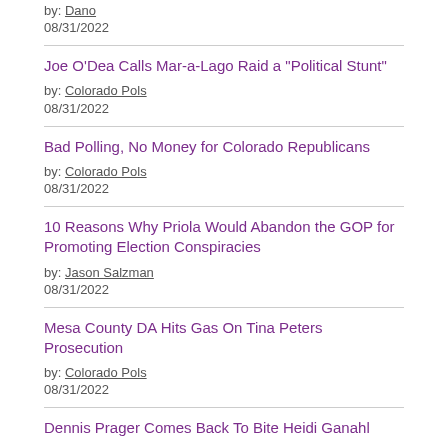by: Dano
08/31/2022
Joe O'Dea Calls Mar-a-Lago Raid a "Political Stunt"
by: Colorado Pols
08/31/2022
Bad Polling, No Money for Colorado Republicans
by: Colorado Pols
08/31/2022
10 Reasons Why Priola Would Abandon the GOP for Promoting Election Conspiracies
by: Jason Salzman
08/31/2022
Mesa County DA Hits Gas On Tina Peters Prosecution
by: Colorado Pols
08/31/2022
Dennis Prager Comes Back To Bite Heidi Ganahl